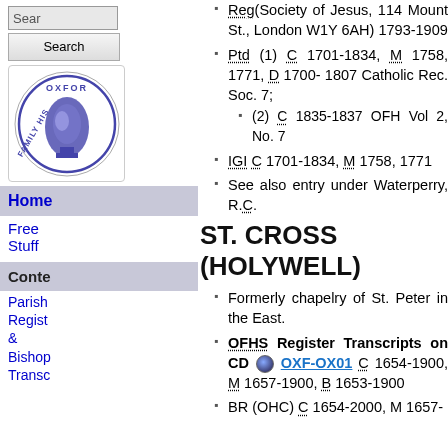Reg(Society of Jesus, 114 Mount St., London W1Y 6AH) 1793-1909
Ptd (1) C 1701-1834, M 1758, 1771, D 1700-1807 Catholic Rec. Soc. 7;
(2) C 1835-1837 OFH Vol 2, No. 7
IGI C 1701-1834, M 1758, 1771
See also entry under Waterperry, R.C.
ST. CROSS (HOLYWELL)
Formerly chapelry of St. Peter in the East.
OFHS Register Transcripts on CD OXF-OX01 C 1654-1900, M 1657-1900, B 1653-1900
BR (OHC) C 1654-2000, M 1657-